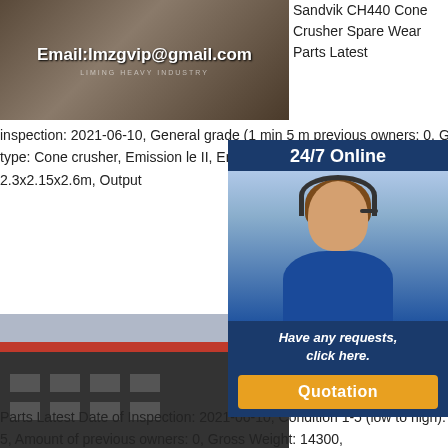[Figure (photo): Industrial crusher/conveyor machinery with email overlay, text: Email:lmzgvip@gmail.com]
Sandvik CH440 Cone Crusher Spare Wear Parts Latest
inspection: 2021-06-10, General grade (1 min 5 m previous owners: 0, Gross Weight: 14300, Crusher Tertiary, Crusher type: Cone crusher, Emission le II, Engine: 250KW, Engine Manufacturer: WNM C brand,Screen size (m): 2.3x2.15x2.6m, Output
[Figure (photo): Cone crusher machinery on flatbed truck outside industrial building, with email overlay: Email:lmzgvip@gmail.com]
Used cru
Use and
Svedala H4800
Sandvik CH440 Cone Crusher Spare Wear
Parts Latest Date of Inspection: 2021-06-10, Condition 1-5 (low to high): 5, Amount of previous owners: 0, Gross Weight: 14300,